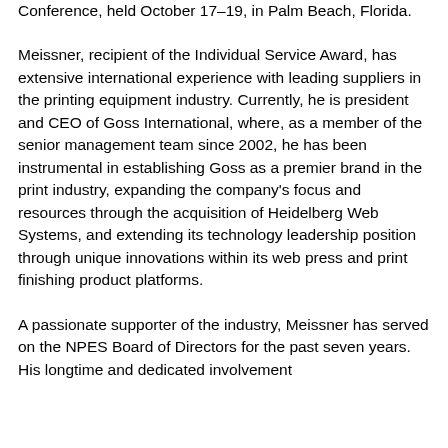Conference, held October 17–19, in Palm Beach, Florida.
Meissner, recipient of the Individual Service Award, has extensive international experience with leading suppliers in the printing equipment industry. Currently, he is president and CEO of Goss International, where, as a member of the senior management team since 2002, he has been instrumental in establishing Goss as a premier brand in the print industry, expanding the company's focus and resources through the acquisition of Heidelberg Web Systems, and extending its technology leadership position through unique innovations within its web press and print finishing product platforms.
A passionate supporter of the industry, Meissner has served on the NPES Board of Directors for the past seven years. His longtime and dedicated involvement